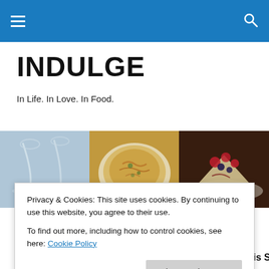INDULGE
In Life. In Love. In Food.
[Figure (photo): Three food/dining photos: wine glasses on a table, a pasta dish on a white plate, and a cheesecake slice with berries]
Privacy & Cookies: This site uses cookies. By continuing to use this website, you agree to their use.
To find out more, including how to control cookies, see here: Cookie Policy
Close and accept
Good Morning from Riviera Cancun Mexico:  Today is St